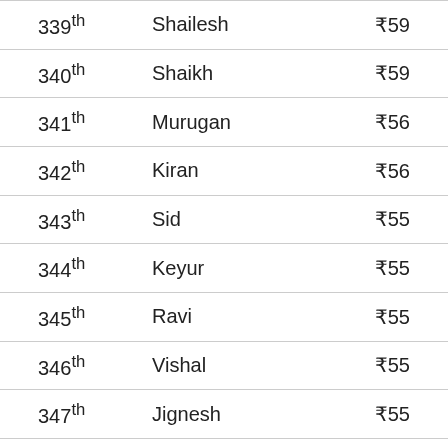| Rank | Name | Amount |
| --- | --- | --- |
| 339th | Shailesh | ₹59 |
| 340th | Shaikh | ₹59 |
| 341th | Murugan | ₹56 |
| 342th | Kiran | ₹56 |
| 343th | Sid | ₹55 |
| 344th | Keyur | ₹55 |
| 345th | Ravi | ₹55 |
| 346th | Vishal | ₹55 |
| 347th | Jignesh | ₹55 |
| 348th | Vishal | ₹55 |
| 349th | Sunil | ₹55 |